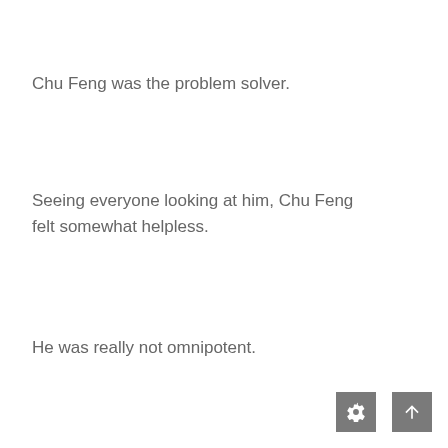Chu Feng was the problem solver.
Seeing everyone looking at him, Chu Feng felt somewhat helpless.
He was really not omnipotent.